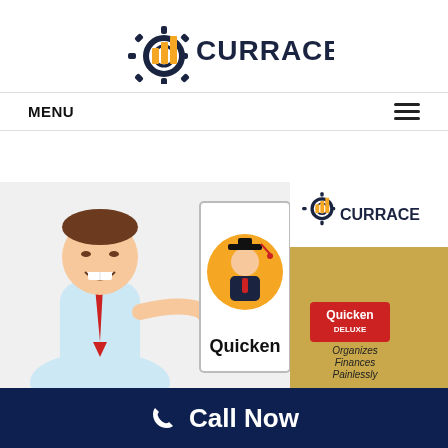[Figure (logo): Currace logo — gear with orange bar-chart icon and dark navy text CURRACE]
MENU
[Figure (screenshot): Composite image showing: cartoon businessman pointing at a certificate with a graduation student icon and text 'Quicken'; and a second panel showing Currace logo over a Quicken Deluxe package that reads 'Organizes Finances Painlessly']
Call Now